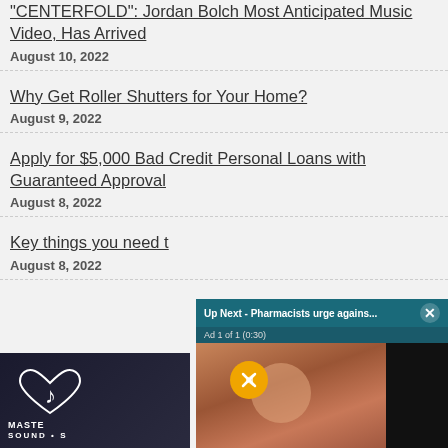"CENTERFOLD": Jordan Bolch Most Anticipated Music Video, Has Arrived
August 10, 2022
Why Get Roller Shutters for Your Home?
August 9, 2022
Apply for $5,000 Bad Credit Personal Loans with Guaranteed Approval
August 8, 2022
Key things you need t...
August 8, 2022
[Figure (screenshot): Video ad overlay showing 'Up Next - Pharmacists urge agains...' with an X close button, 'Ad 1 of 1 (0:30)' label, mute button, and a photo of a baby being examined by a doctor.]
[Figure (photo): Bottom left thumbnail showing a music-related logo with a treble clef and heart, text reading 'MASTER SOUND + S...']